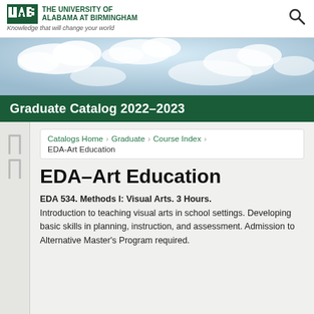THE UNIVERSITY OF ALABAMA AT BIRMINGHAM – Knowledge that will change your world
[Figure (photo): Sky with clouds banner image]
Graduate Catalog 2022–2023
Catalogs Home › Graduate › Course Index › EDA-Art Education
EDA–Art Education
EDA 534. Methods I: Visual Arts. 3 Hours. Introduction to teaching visual arts in school settings. Developing basic skills in planning, instruction, and assessment. Admission to Alternative Master's Program required.